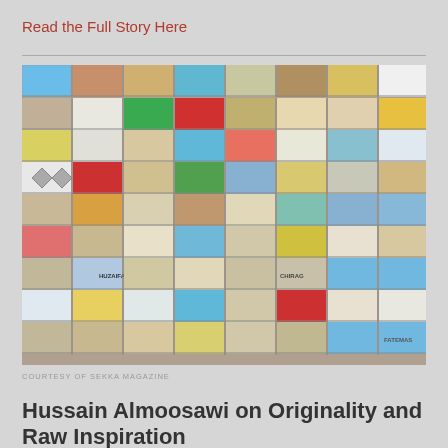Read the Full Story Here
[Figure (photo): A grid of photographs showing colorful painted walls, shipping containers, and building facades with various patterns, stripes, and text including 'HUZAIFA', 'CHIRAG', 'FATEMAS' in Bahrain/Middle East setting]
COURTESY OF SEKKA MAGAZINE
Hussain Almoosawi on Originality and Raw Inspiration